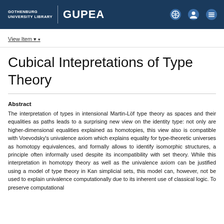GOTHENBURG UNIVERSITY LIBRARY | GUPEA
View Item
Cubical Intepretations of Type Theory
Abstract
The interpretation of types in intensional Martin-Löf type theory as spaces and their equalities as paths leads to a surprising new view on the identity type: not only are higher-dimensional equalities explained as homotopies, this view also is compatible with Voevodsky's univalence axiom which explains equality for type-theoretic universes as homotopy equivalences, and formally allows to identify isomorphic structures, a principle often informally used despite its incompatibility with set theory. While this interpretation in homotopy theory as well as the univalence axiom can be justified using a model of type theory in Kan simplicial sets, this model can, however, not be used to explain univalence computationally due to its inherent use of classical logic. To preserve computational